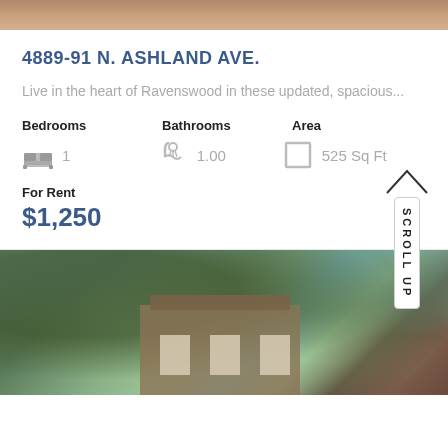[Figure (photo): Top portion of a property photo, brown/tan tones]
4889-91 N. ASHLAND AVE.
Live in the heart of Ravenswood in these updated, spacious...
Bedrooms: 1 | Bathrooms: 1.00 | Area: 525 Sq Ft
For Rent
$1,250
[Figure (photo): Exterior photo of brick apartment building with trees in foreground, blue sky, Chicago neighborhood]
SCROLL UP